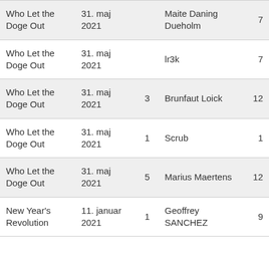| Event | Date |  | Player |  |
| --- | --- | --- | --- | --- |
| Who Let the Doge Out | 31. maj 2021 |  | Maite Daning Dueholm | 7 |
| Who Let the Doge Out | 31. maj 2021 |  | lr3k | 7 |
| Who Let the Doge Out | 31. maj 2021 | 3 | Brunfaut Loick | 12 |
| Who Let the Doge Out | 31. maj 2021 | 1 | Scrub | 1 |
| Who Let the Doge Out | 31. maj 2021 | 5 | Marius Maertens | 12 |
| New Year's Revolution | 11. januar 2021 | 1 | Geoffrey SANCHEZ | 9 |